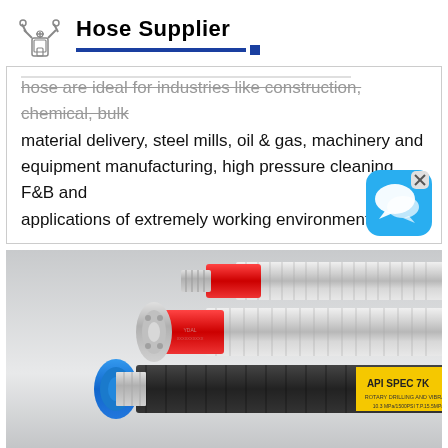[Figure (logo): Hose Supplier company logo with stylized pump/valve icon and bold text 'Hose Supplier' with blue underline bar]
hose are ideal for industries like construction, chemical, bulk material delivery, steel mills, oil & gas, machinery and equipment manufacturing, high pressure cleaning, F&B and applications of extremely working environment.
[Figure (photo): Industrial hoses: two stainless steel braided hoses with red fittings, and one black hose with yellow label reading 'API SPEC 7K ROTARY DRILLING AND VIBRATOR HOSE 10.3 MPa/1500PSI T.P.15.5MPa FEP', blue flange fitting visible on left]